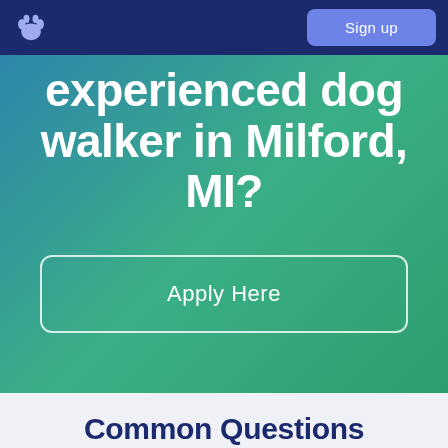Sign up
experienced dog walker in Milford, MI?
Apply Here
Common Questions